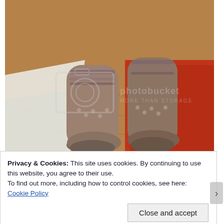[Figure (photo): Photograph of knitted woolen socks on a red textured rug with a wooden floor background. The socks are multicolored in brown, beige, purple and dark tones. A white fabric is visible in the background. A Photobucket watermark is overlaid on the image.]
Privacy & Cookies: This site uses cookies. By continuing to use this website, you agree to their use.
To find out more, including how to control cookies, see here: Cookie Policy
Close and accept